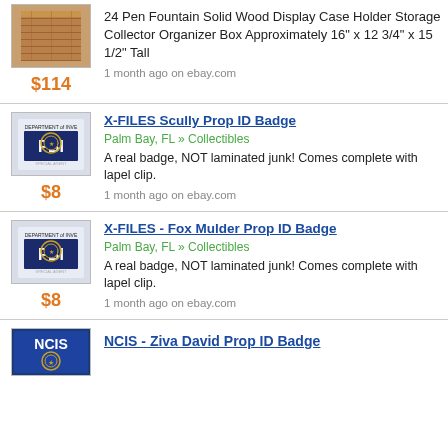[Figure (photo): Wooden pen display case box, brown wood color]
$114
24 Pen Fountain Solid Wood Display Case Holder Storage Collector Organizer Box Approximately 16" x 12 3/4" x 15 1/2" Tall
1 month ago on ebay.com
X-FILES Scully Prop ID Badge
Palm Bay, FL » Collectibles
[Figure (photo): FBI ID badge with Department of Investigation logo]
$8
A real badge, NOT laminated junk! Comes complete with lapel clip.
1 month ago on ebay.com
X-FILES - Fox Mulder Prop ID Badge
Palm Bay, FL » Collectibles
[Figure (photo): FBI ID badge with Department of Investigation logo]
$8
A real badge, NOT laminated junk! Comes complete with lapel clip.
1 month ago on ebay.com
NCIS - Ziva David Prop ID Badge
[Figure (photo): NCIS badge with blue background]